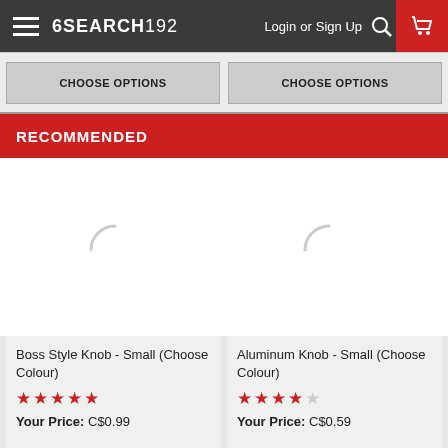6SEARCH192  Login or Sign Up  [cart]
CHOOSE OPTIONS  CHOOSE OPTIONS
RECOMMENDED
[Figure (other): Loading spinner circle (left product image loading)]
[Figure (other): Loading spinner circle (right product image loading)]
Boss Style Knob - Small (Choose Colour)
★★★★★
Your Price: C$0.99
Aluminum Knob - Small (Choose Colour)
★★★★☆
Your Price: C$0.59